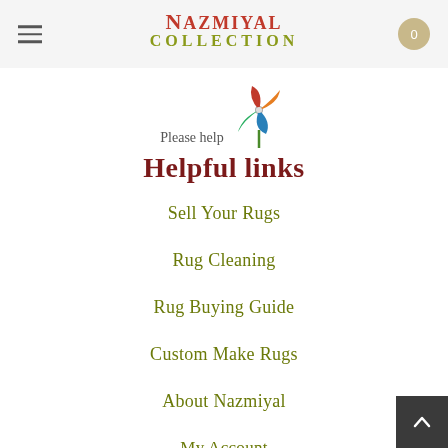Nazmiyal Collection
[Figure (illustration): Colorful pinwheel/windmill icon with red, orange, blue, and green blades on a green stick]
Please help
Helpful links
Sell Your Rugs
Rug Cleaning
Rug Buying Guide
Custom Make Rugs
About Nazmiyal
My Account